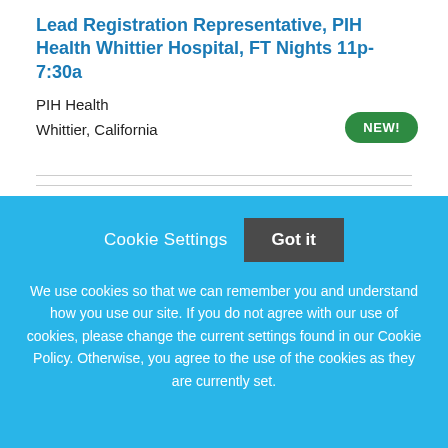Lead Registration Representative, PIH Health Whittier Hospital, FT Nights 11p-7:30a
PIH Health
Whittier, California
[Figure (other): Green 'NEW!' badge button]
[Figure (logo): St. Luke's Health System Logo placeholder image]
Cookie Settings   Got it

We use cookies so that we can remember you and understand how you use our site. If you do not agree with our use of cookies, please change the current settings found in our Cookie Policy. Otherwise, you agree to the use of the cookies as they are currently set.